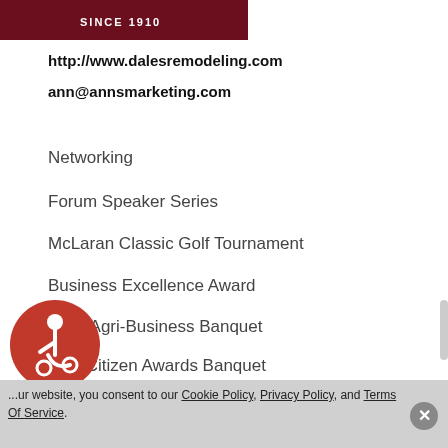[Figure (logo): Dark red/maroon logo banner bar, partially visible at top, with white text 'SINCE 1910' visible]
http://www.dalesremodeling.com
ann@annsmarketing.com
Networking
Forum Speaker Series
McLaran Classic Golf Tournament
Business Excellence Award
SAIF Agri-Business Banquet
First Citizen Awards Banquet
Calendar
Highlight Videos
Submit Your Member News
[Figure (illustration): Red circular accessibility icon with wheelchair user symbol]
...ur website, you consent to our Cookie Policy, Privacy Policy, and Terms Of Service.